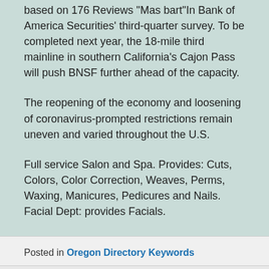based on 176 Reviews "Mas bart"In Bank of America Securities' third-quarter survey. To be completed next year, the 18-mile third mainline in southern California's Cajon Pass will push BNSF further ahead of the capacity.
The reopening of the economy and loosening of coronavirus-prompted restrictions remain uneven and varied throughout the U.S.
Full service Salon and Spa. Provides: Cuts, Colors, Color Correction, Weaves, Perms, Waxing, Manicures, Pedicures and Nails. Facial Dept: provides Facials.
Posted in Oregon Directory Keywords